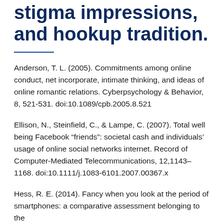stigma impressions, and hookup tradition.
Anderson, T. L. (2005). Commitments among online conduct, net incorporate, intimate thinking, and ideas of online romantic relations. Cyberpsychology & Behavior, 8, 521-531. doi:10.1089/cpb.2005.8.521
Ellison, N., Steinfield, C., & Lampe, C. (2007). Total well being Facebook “friends”: societal cash and individuals’ usage of online social networks internet. Record of Computer-Mediated Telecommunications, 12,1143–1168. doi:10.1111/j.1083-6101.2007.00367.x
Hess, R. E. (2014). Fancy when you look at the period of smartphones: a comparative assessment belonging to the